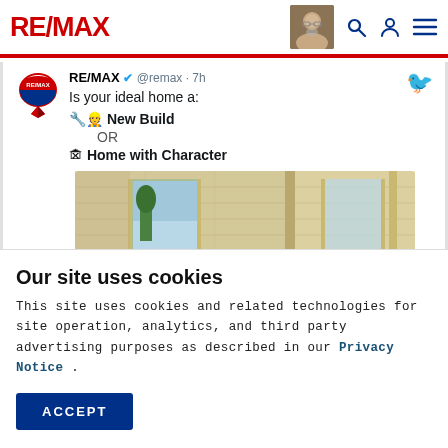RE/MAX — navigation bar with logo, avatar, search, account, menu icons
RE/MAX @remax · 7h
Is your ideal home a:
🔧👷 New Build
OR
🏚 Home with Character
[Figure (photo): Interior photo of a new build wooden frame house under construction, showing light wood panel walls and doorways]
Our site uses cookies
This site uses cookies and related technologies for site operation, analytics, and third party advertising purposes as described in our Privacy Notice .
ACCEPT